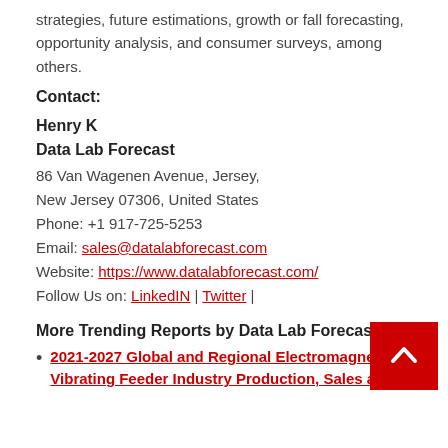strategies, future estimations, growth or fall forecasting, opportunity analysis, and consumer surveys, among others.
Contact:
Henry K
Data Lab Forecast
86 Van Wagenen Avenue, Jersey,
New Jersey 07306, United States
Phone: +1 917-725-5253
Email: sales@datalabforecast.com
Website: https://www.datalabforecast.com/
Follow Us on: LinkedIN | Twitter |
More Trending Reports by Data Lab Forecast:
2021-2027 Global and Regional Electromagnetic Vibrating Feeder Industry Production, Sales and